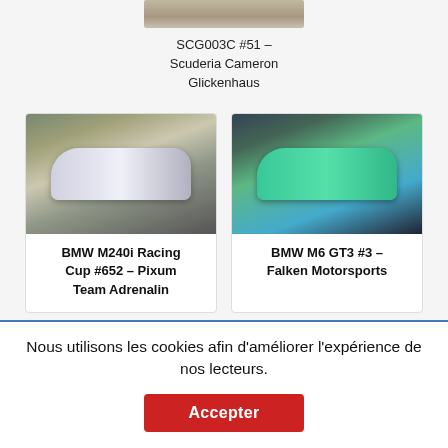[Figure (photo): Partial image of racing car at top center — SCG003C belonging to Scuderia Cameron Glickenhaus]
SCG003C #51 – Scuderia Cameron Glickenhaus
[Figure (photo): Photo of white BMW M240i Racing Cup car on track]
BMW M240i Racing Cup #652 – Pixum Team Adrenalin Motorsport
[Figure (photo): Photo of teal/green BMW M6 GT3 racing car on track]
BMW M6 GT3 #3 – Falken Motorsports
Nous utilisons les cookies afin d'améliorer l'expérience de nos lecteurs.